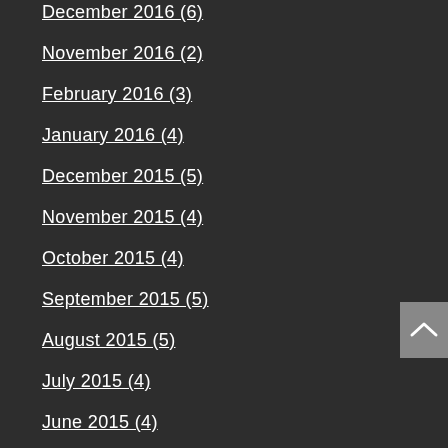December 2016 (6)
November 2016 (2)
February 2016 (3)
January 2016 (4)
December 2015 (5)
November 2015 (4)
October 2015 (4)
September 2015 (5)
August 2015 (5)
July 2015 (4)
June 2015 (4)
May 2015 (4)